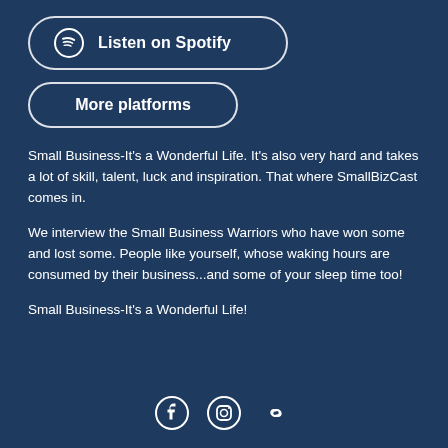[Figure (other): Listen on Spotify button with Spotify logo icon]
[Figure (other): More platforms button]
Small Business-It's a Wonderful Life. It's also very hard and takes a lot of skill, talent, luck and inspiration. That where SmallBizCast comes in.
We interview the Small Business Warriors who have won some and lost some. People like yourself, whose waking hours are consumed by their business...and some of your sleep time too!
Small Business-It's a Wonderful Life!
[Figure (other): Social media icons: Facebook, Instagram, and link/chain icon]